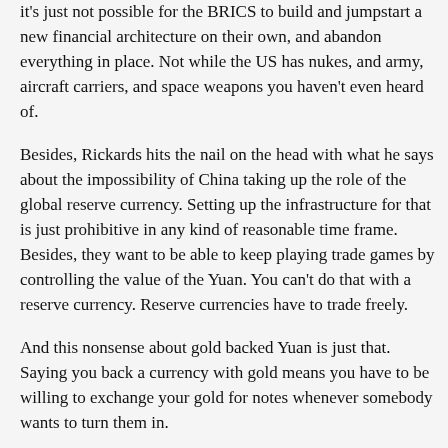it's just not possible for the BRICS to build and jumpstart a new financial architecture on their own, and abandon everything in place. Not while the US has nukes, and army, aircraft carriers, and space weapons you haven't even heard of.
Besides, Rickards hits the nail on the head with what he says about the impossibility of China taking up the role of the global reserve currency. Setting up the infrastructure for that is just prohibitive in any kind of reasonable time frame. Besides, they want to be able to keep playing trade games by controlling the value of the Yuan. You can't do that with a reserve currency. Reserve currencies have to trade freely.
And this nonsense about gold backed Yuan is just that. Saying you back a currency with gold means you have to be willing to exchange your gold for notes whenever somebody wants to turn them in.
The Chinese don't want to give up any gold. That's their dollar hedge, like Rickards says.